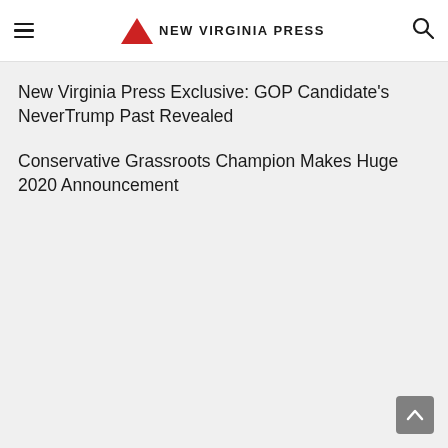NEW VIRGINIA PRESS
New Virginia Press Exclusive: GOP Candidate's NeverTrump Past Revealed
Conservative Grassroots Champion Makes Huge 2020 Announcement